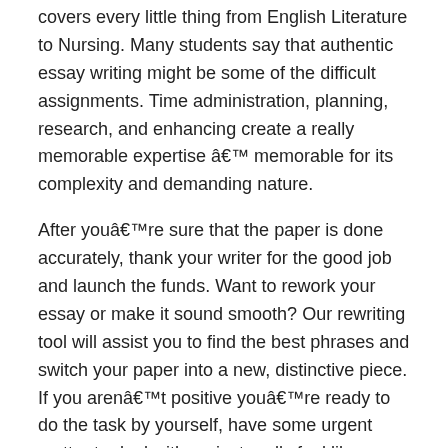covers every little thing from English Literature to Nursing. Many students say that authentic essay writing might be some of the difficult assignments. Time administration, planning, research, and enhancing create a really memorable expertise â memorable for its complexity and demanding nature.
After youâre sure that the paper is done accurately, thank your writer for the good job and launch the funds. Want to rework your essay or make it sound smooth? Our rewriting tool will assist you to find the best phrases and switch your paper into a new, distinctive piece. If you arenât positive youâre ready to do the task by yourself, have some urgent matter to deal with, or just really feel like resting, asking for assist is essential. Youâll be succesful of obtain a fantastic grade and spend time in the way in which you want it. If you need your prime essay in 3 hours, ensure, youâll get it in 3 hours.
The consumer can http://asu.edu ask any questions about the